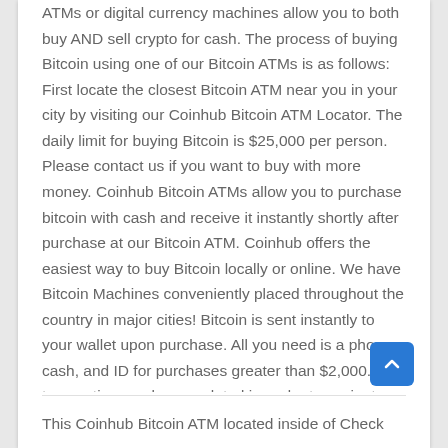ATMs or digital currency machines allow you to both buy AND sell crypto for cash. The process of buying Bitcoin using one of our Bitcoin ATMs is as follows: First locate the closest Bitcoin ATM near you in your city by visiting our Coinhub Bitcoin ATM Locator. The daily limit for buying Bitcoin is $25,000 per person. Please contact us if you want to buy with more money. Coinhub Bitcoin ATMs allow you to purchase bitcoin with cash and receive it instantly shortly after purchase at our Bitcoin ATM. Coinhub offers the easiest way to buy Bitcoin locally or online. We have Bitcoin Machines conveniently placed throughout the country in major cities! Bitcoin is sent instantly to your wallet upon purchase. All you need is a phone, cash, and ID for purchases greater than $2,000. A transaction can be completed in under two minutes
This Coinhub Bitcoin ATM located inside of Check